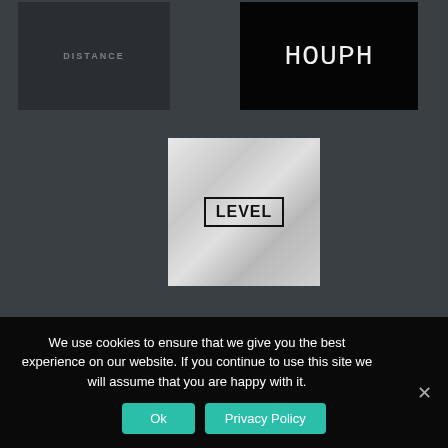[Figure (logo): Dark gray card with 'DISTANCE' text in spaced uppercase gray letters]
[Figure (logo): Black card with 'HOUPH' text in white handwritten/display font]
[Figure (logo): Marble-textured light gray card with 'LEVEL' logo in bordered black uppercase letters]
We use cookies to ensure that we give you the best experience on our website. If you continue to use this site we will assume that you are happy with it.
Ok
Privacy Policy